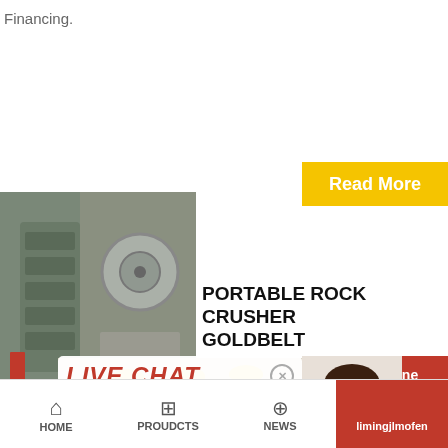Financing.
[Figure (screenshot): Yellow 'Read More' button on gold background]
[Figure (photo): Industrial rock crusher machinery - grey metal equipment photo]
PORTABLE ROCK CRUSHER GOLDBELT
[Figure (photo): Live chat overlay with workers in yellow hard hats and a headset customer service representative. Contains LIVE CHAT title, 'Click for a Free Consultation', Chat now and Chat later buttons.]
inch OLESI rock
no motor. Perfect
production and process evaluation. Comes with eve
crush except the bucket, just apply power and go. N
the new OLESI 4 portable rock crusher has been ...
[Figure (screenshot): Sidebar with 'Need questions & suggestion?', 'Chat Now' button, 'Enquiry', and 'limingjlmofen' sections on red/dark background]
HOME   PROUDCTS   NEWS   limingjlmofen